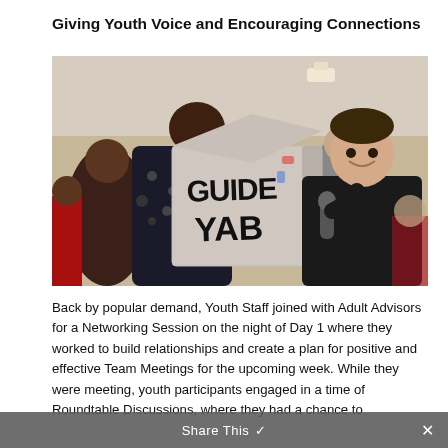Giving Youth Voice and Encouraging Connections
[Figure (photo): Two youth holding up a cardboard box labeled 'GUIDE YAB' at an event, with other participants visible in the background.]
Back by popular demand, Youth Staff joined with Adult Advisors for a Networking Session on the night of Day 1 where they worked to build relationships and create a plan for positive and effective Team Meetings for the upcoming week. While they were meeting, youth participants engaged in a time of Roundtable Discussions, where they had a chance to
Share This ✕